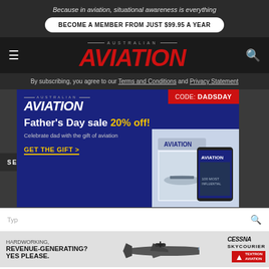Because in aviation, situational awareness is everything
BECOME A MEMBER FROM JUST $99.95 A YEAR
AUSTRALIAN AVIATION
By subscribing, you agree to our Terms and Conditions and Privacy Statement
[Figure (infographic): Australian Aviation Father's Day sale advertisement with CODE: DADSDAY, 20% off offer and magazine images]
SEAR
Typ
[Figure (infographic): Cessna SkyCourier aircraft advertisement: HARDWORKING, REVENUE-GENERATING? YES PLEASE.]